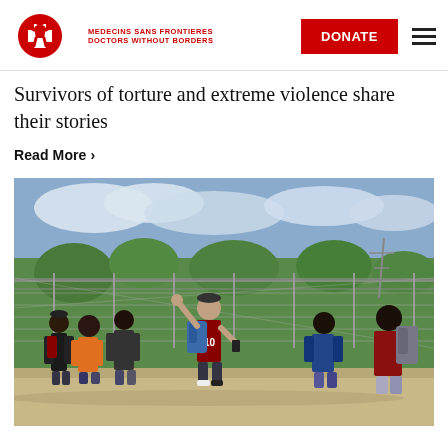[Figure (logo): Médecins Sans Frontières / Doctors Without Borders logo — red person icon with MSF cross, beside red italic text 'MEDECINS SANS FRONTIERES / DOCTORS WITHOUT BORDERS']
DONATE
Survivors of torture and extreme violence share their stories
Read More ›
[Figure (photo): A group of migrants carrying backpacks standing in front of a chain-link fence. One person in a maroon jersey with number 10 and a blue backpack raises their hand. Others are gathered around. The background shows a fenced area with trees and power lines under a cloudy sky.]